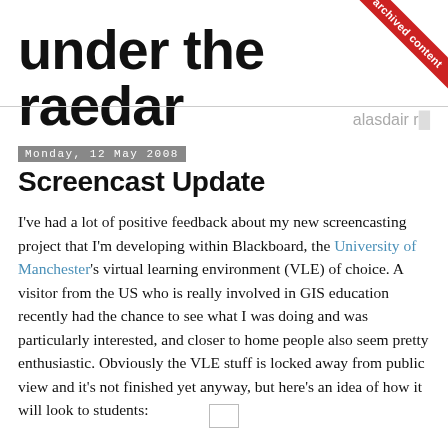under the raedar
alasdair r...
Monday, 12 May 2008
Screencast Update
I've had a lot of positive feedback about my new screencasting project that I'm developing within Blackboard, the University of Manchester's virtual learning environment (VLE) of choice. A visitor from the US who is really involved in GIS education recently had the chance to see what I was doing and was particularly interested, and closer to home people also seem pretty enthusiastic. Obviously the VLE stuff is locked away from public view and it's not finished yet anyway, but here's an idea of how it will look to students:
[Figure (other): Small image placeholder at bottom center]